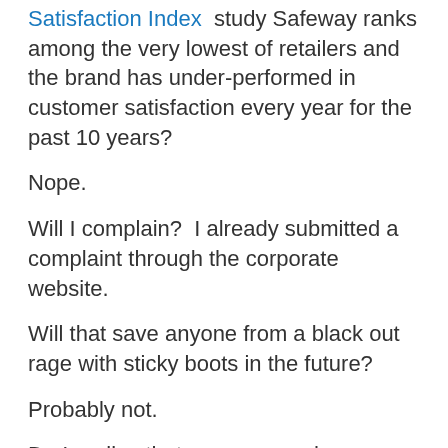Satisfaction Index study Safeway ranks among the very lowest of retailers and the brand has under-performed in customer satisfaction every year for the past 10 years?
Nope.
Will I complain?  I already submitted a complaint through the corporate website.
Will that save anyone from a black out rage with sticky boots in the future?
Probably not.
Do I realize that my age may have something to do with my aversion to self-check out lanes and the statistics back that up to a certain degree?
Yes, but I'm guessing I spend way more on groceries than